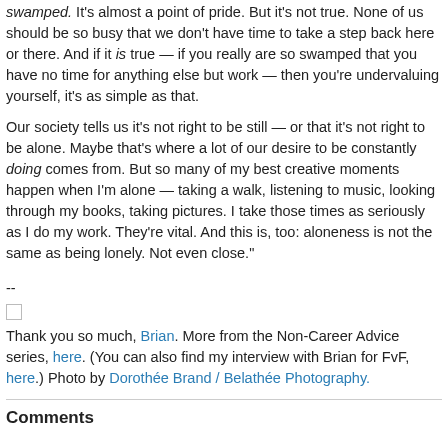swamped. It's almost a point of pride. But it's not true. None of us should be so busy that we don't have time to take a step back here or there. And if it is true — if you really are so swamped that you have no time for anything else but work — then you're undervaluing yourself, it's as simple as that.
Our society tells us it's not right to be still — or that it's not right to be alone. Maybe that's where a lot of our desire to be constantly doing comes from. But so many of my best creative moments happen when I'm alone — taking a walk, listening to music, looking through my books, taking pictures. I take those times as seriously as I do my work. They're vital. And this is, too: aloneness is not the same as being lonely. Not even close."
--
Thank you so much, Brian. More from the Non-Career Advice series, here. (You can also find my interview with Brian for FvF, here.) Photo by Dorothée Brand / Belathée Photography.
Comments